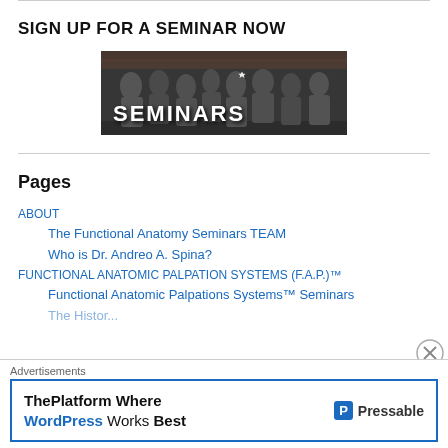SIGN UP FOR A SEMINAR NOW
[Figure (photo): Photo of a group of people attending a seminar around a table, with bold white text 'SEMINARS' overlaid on a dark background]
Pages
ABOUT
The Functional Anatomy Seminars TEAM
Who is Dr. Andreo A. Spina?
FUNCTIONAL ANATOMIC PALPATION SYSTEMS (F.A.P.)™
Functional Anatomic Palpations Systems™ Seminars
Advertisements
ThePlatform Where WordPress Works Best — Pressable